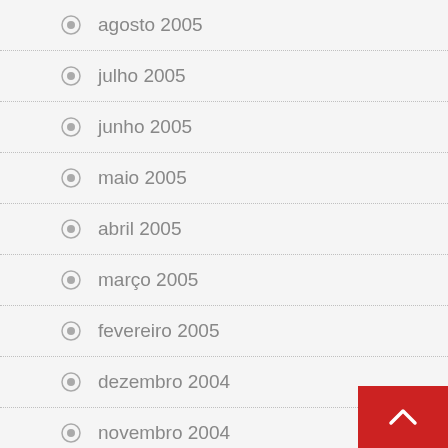agosto 2005
julho 2005
junho 2005
maio 2005
abril 2005
março 2005
fevereiro 2005
dezembro 2004
novembro 2004
outubro 2004